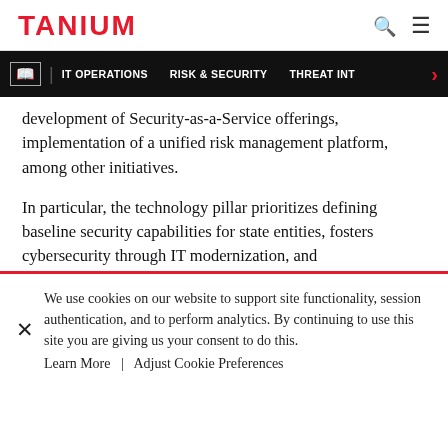TANIUM
[Figure (screenshot): Navigation bar with book icon, IT OPERATIONS, RISK & SECURITY, THREAT INT labels and red arrow]
development of Security-as-a-Service offerings, implementation of a unified risk management platform, among other initiatives.
In particular, the technology pillar prioritizes defining baseline security capabilities for state entities, fosters cybersecurity through IT modernization, and
We use cookies on our website to support site functionality, session authentication, and to perform analytics. By continuing to use this site you are giving us your consent to do this.
Learn More  |  Adjust Cookie Preferences